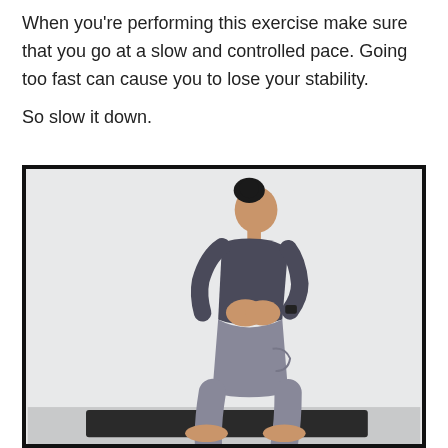When you're performing this exercise make sure that you go at a slow and controlled pace. Going too fast can cause you to lose your stability.

So slow it down.
[Figure (photo): A woman in a grey athletic outfit standing in a slight squat/balance position with hands clasped in front of her chest, viewed from the side, on a dark exercise mat against a white wall.]